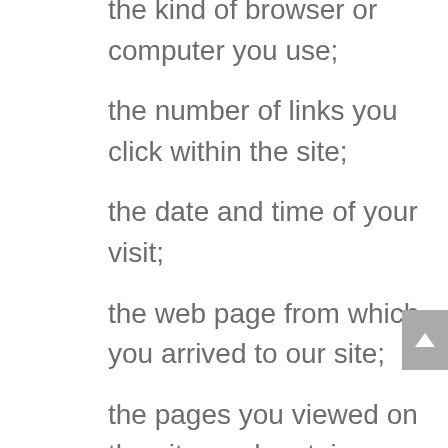the kind of browser or computer you use;
the number of links you click within the site;
the date and time of your visit;
the web page from which you arrived to our site;
the pages you viewed on the site; and certain searches/queries that you conducted via our website(s).
The information we collect in web server logs helps us administer the site, analyze its usage, protect the website and its content from